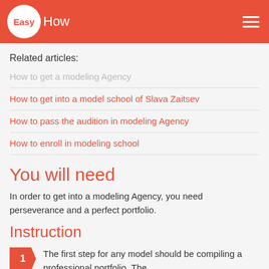EasyHow
Related articles:
How to get a modeling Agency
How to get into a model school of Slava Zaitsev
How to pass the audition in modeling Agency
How to enroll in modeling school
You will need
In order to get into a modeling Agency, you need perseverance and a perfect portfolio.
Instruction
The first step for any model should be compiling a professional portfolio. The